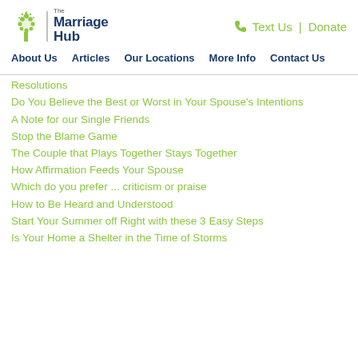The Marriage Hub | Text Us | Donate
About Us  Articles  Our Locations  More Info  Contact Us
Resolutions
Do You Believe the Best or Worst in Your Spouse's Intentions
A Note for our Single Friends
Stop the Blame Game
The Couple that Plays Together Stays Together
How Affirmation Feeds Your Spouse
Which do you prefer ... criticism or praise
How to Be Heard and Understood
Start Your Summer off Right with these 3 Easy Steps
Is Your Home a Shelter in the Time of Storms